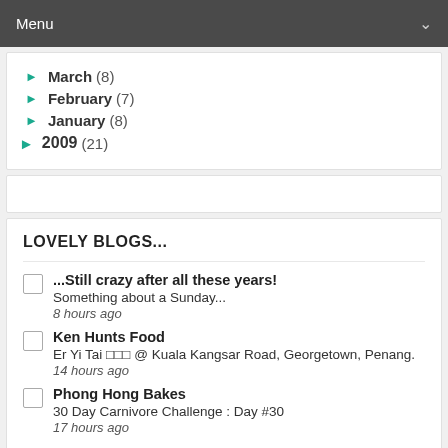Menu
March (8)
February (7)
January (8)
2009 (21)
LOVELY BLOGS...
...Still crazy after all these years! — Something about a Sunday... — 8 hours ago
Ken Hunts Food — Er Yi Tai 二姨太 @ Kuala Kangsar Road, Georgetown, Penang. — 14 hours ago
Phong Hong Bakes — 30 Day Carnivore Challenge : Day #30 — 17 hours ago